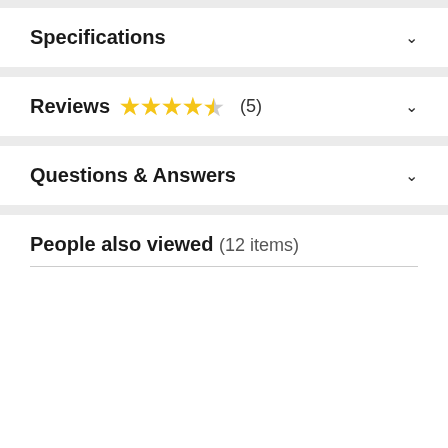Specifications
Reviews ★★★★½ (5)
Questions & Answers
People also viewed (12 items)